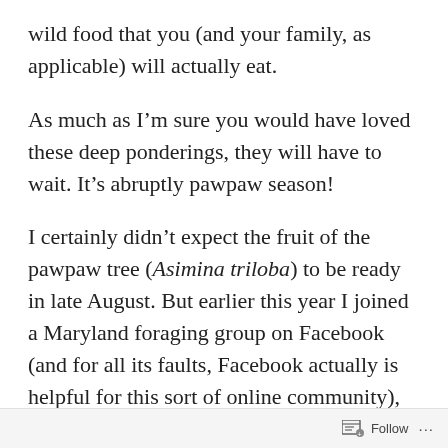wild food that you (and your family, as applicable) will actually eat.
As much as I'm sure you would have loved these deep ponderings, they will have to wait. It's abruptly pawpaw season!
I certainly didn't expect the fruit of the pawpaw tree (Asimina triloba) to be ready in late August. But earlier this year I joined a Maryland foraging group on Facebook (and for all its faults, Facebook actually is helpful for this sort of online community), and this morning one of the
Follow ···